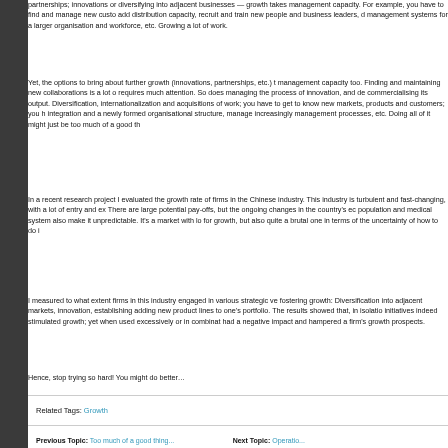partnerships; innovations or diversifying into adjacent businesses — growth takes management capacity. For example, you have to find and manage new customers, add distribution capacity, recruit and train new people and business leaders, develop management systems for a larger organisation and workforce, etc. Growing a lot of work.
Yet, the options to bring about further growth (innovations, partnerships, etc.) takes management capacity too. Finding and maintaining new collaborations is a lot of work, requires much attention. So does managing the process of innovation, and developing commercialising its output. Diversification, internationalization and acquisitions — a lot of work; you have to get to know new markets, products and customers; you have to manage integration and a newly formed organisational structure, manage increasingly complex management processes, etc. Doing all of it might just be too much of a good thing.
In a recent research project I evaluated the growth rate of firms in the Chinese healthcare industry. This industry is turbulent and fast-changing, with a lot of entry and exit of firms. There are large potential pay-offs, but the ongoing changes in the country's economy, population and medical system also make it unpredictable. It's a market with lots of potential for growth, but also quite a brutal one in terms of the uncertainty of how to do it.
I measured to what extent firms in this industry engaged in various strategic ventures fostering growth: Diversification into adjacent markets, innovation, establishing partnerships, adding new product lines to one's portfolio. The results showed that, in isolation, all these initiatives indeed stimulated growth; yet when used excessively or in combination, they had a negative impact and hampered a firm's growth prospects.
Hence, stop trying so hard! You might do better…
Related Tags: Growth
Previous Topic: Too much of a good thing... Next Topic: Operation...